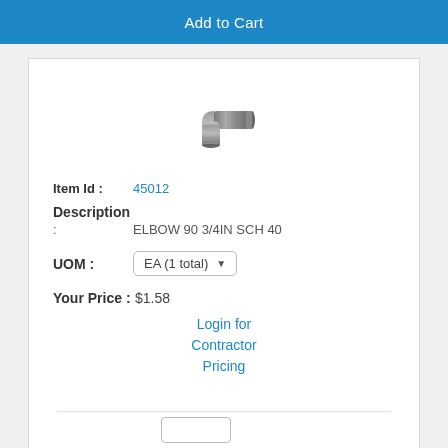Add to Cart
[Figure (photo): 90-degree galvanized steel pipe elbow fitting, 3/4 inch SCH 40]
Item Id : 45012
Description
: ELBOW 90 3/4IN SCH 40
UOM : EA (1 total)
Your Price : $1.58
Login for Contractor Pricing